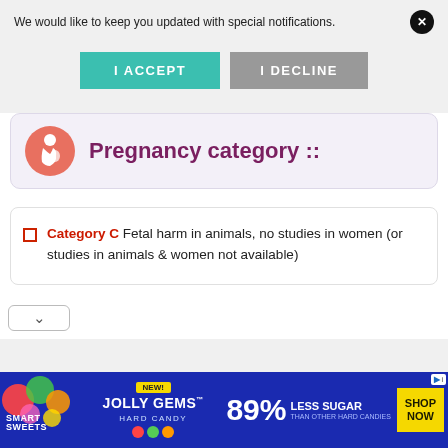We would like to keep you updated with special notifications.
I ACCEPT
I DECLINE
Pregnancy category ::
Category C Fetal harm in animals, no studies in women (or studies in animals & women not available)
[Figure (infographic): Advertisement banner for Smart Sweets Jolly Gems Hard Candy showing 89% Less Sugar than other hard candies with a Shop Now button]